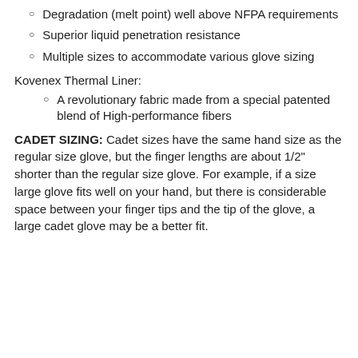Degradation (melt point) well above NFPA requirements
Superior liquid penetration resistance
Multiple sizes to accommodate various glove sizing
Kovenex Thermal Liner:
A revolutionary fabric made from a special patented blend of High-performance fibers
CADET SIZING:  Cadet sizes have the same hand size as the regular size glove, but the finger lengths are about 1/2" shorter than the regular size glove.  For example, if a size large glove fits well on your hand, but there is considerable space between your finger tips and the tip of the glove, a large cadet glove may be a better fit.